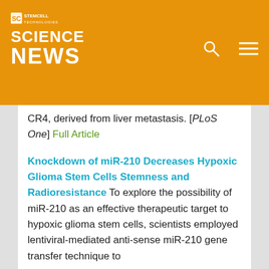STEMCELL SCIENCE NEWS
CR4, derived from liver metastasis. [PLoS One] Full Article
Knockdown of miR-210 Decreases Hypoxic Glioma Stem Cells Stemness and Radioresistance
To explore the possibility of miR-210 as an effective therapeutic target to hypoxic glioma stem cells, scientists employed lentiviral-mediated anti-sense miR-210 gene transfer technique to